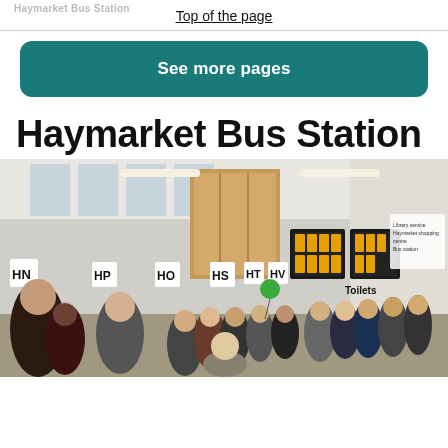Haymarket Bus Station | Top of the page
See more pages
Haymarket Bus Station
[Figure (photo): Interior of Haymarket Bus Station showing a busy concourse with many passengers walking around, departure boards displaying bus information, bay signs labelled HN, HP, HO, HS, HT, HV, and a Toilets sign visible. The station has large windows and a modern interior with wood panelling.]